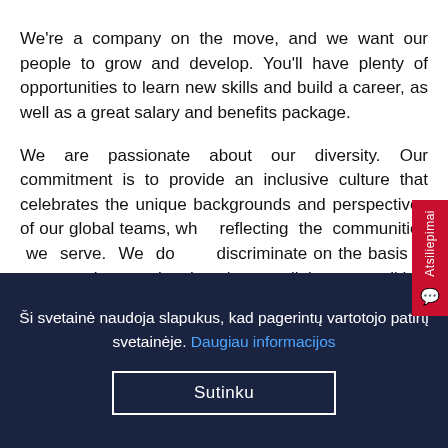We're a company on the move, and we want our people to grow and develop. You'll have plenty of opportunities to learn new skills and build a career, as well as a great salary and benefits package.
We are passionate about our diversity. Our commitment is to provide an inclusive culture that celebrates the unique backgrounds and perspectives of our global teams, while reflecting the communities we serve. We do not discriminate on the basis of race, color, national origin, religion, political affiliation, sex (including pregnancy), sexual orientation, gender identity, age, disability, marital status, or veteran (U.S.) status. The company will provide accommodation to applicants, including those with
Ši svetainė naudoja slapukus, kad pagerintų vartotojo patirtį svetainėje. Daugiau informacijos
Sutinku